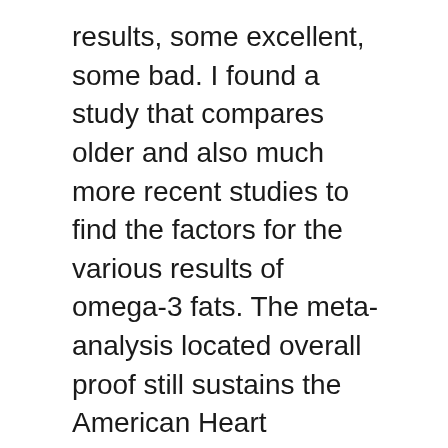results, some excellent, some bad. I found a study that compares older and also much more recent studies to find the factors for the various results of omega-3 fats. The meta-analysis located overall proof still sustains the American Heart Association's suggestion of having 2 servings of fatty fish per week.3.
Skin.
Some people are blessed with a normally gorgeous radiance. For the remainder of us, we turn to skin care, serums as well as supplements to aid attain the exact same impact. One nutrient you might want to consider is astaxanthin. This antioxidant has expanding evidence that it can be